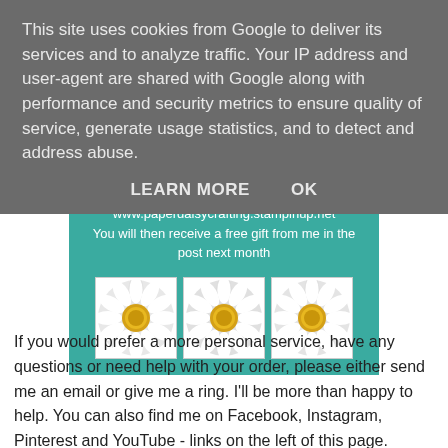This site uses cookies from Google to deliver its services and to analyze traffic. Your IP address and user-agent are shared with Google along with performance and security metrics to ensure quality of service, generate usage statistics, and to detect and address abuse.
LEARN MORE    OK
[Figure (infographic): Teal promotional banner with URL www.paperdaisycrafting.stampinup.net, text about receiving a free gift, and three daisy flower images in a row]
If you would prefer a more personal service, have any questions or need help with your order, please either send me an email or give me a ring. I'll be more than happy to help. You can also find me on Facebook, Instagram, Pinterest and YouTube - links on the left of this page.